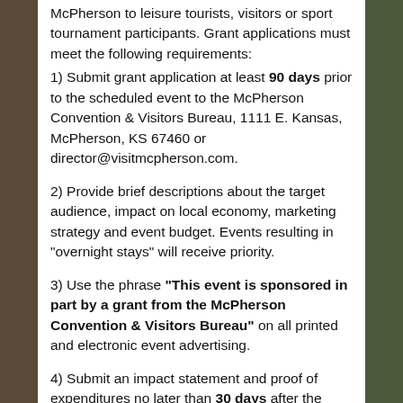McPherson to leisure tourists, visitors or sport tournament participants. Grant applications must meet the following requirements:
1) Submit grant application at least 90 days prior to the scheduled event to the McPherson Convention & Visitors Bureau, 1111 E. Kansas, McPherson, KS 67460 or director@visitmcpherson.com.
2) Provide brief descriptions about the target audience, impact on local economy, marketing strategy and event budget. Events resulting in "overnight stays" will receive priority.
3) Use the phrase "This event is sponsored in part by a grant from the McPherson Convention & Visitors Bureau" on all printed and electronic event advertising.
4) Submit an impact statement and proof of expenditures no later than 30 days after the event. Grant dollars will not be issued if documentation is not received by the 30-day deadline. Failure to submit documentation may disqualify future grant funding.